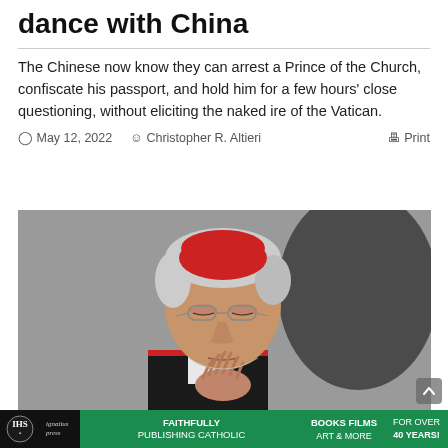dance with China
The Chinese now know they can arrest a Prince of the Church, confiscate his passport, and hold him for a few hours' close questioning, without eliciting the naked ire of the Vatican.
May 12, 2022   Christopher R. Altieri   Print
[Figure (photo): An elderly Asian cardinal wearing red zucchetto and black clerical attire with red trim, holding his hands in prayer position, glasses on, eyes downcast.]
Ignatius Press — FAITHFULLY PUBLISHING CATHOLIC — BOOKS FILMS ART & MORE — FOR OVER 40 YEARS!